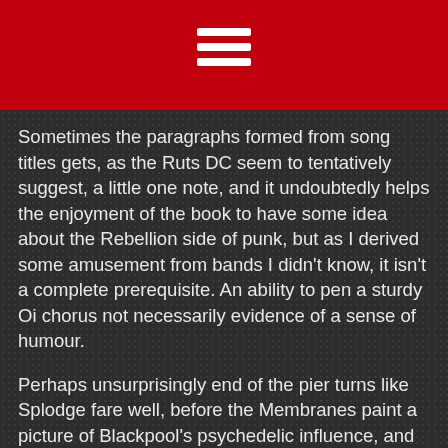desperate need for attention, or be signalling another victim of the notoriously unreliable US Mail Service. On lofn
Sometimes the paragraphs formed from song titles gets, as the Ruts DC seem to tentatively suggest, a little one note, and it undoubtedly helps the enjoyment of the book to have some idea about the Rebellion side of punk, but as I derived some amusement from bands I didn't know, it isn't a complete prerequisite. An ability to pen a sturdy Oi chorus not necessarily evidence of a sense of humour.
Perhaps unsurprisingly end of the pier turns like Splodge fare well, before the Membranes paint a picture of Blackpool's psychedelic influence, and we travel the byways of the Thames Estuary with a Hot Rod. The Gang of Four manage to fly the flag for Marxist intellectuals, but as the voice of independence, I must report that it's the Gonads and Garry Bushell, who prove particularly mirth some with their reasoning for why Karl was a Millwall fan.
Some time ago I managed to get myself involved in an exchange of words with the then editorial team of Louder